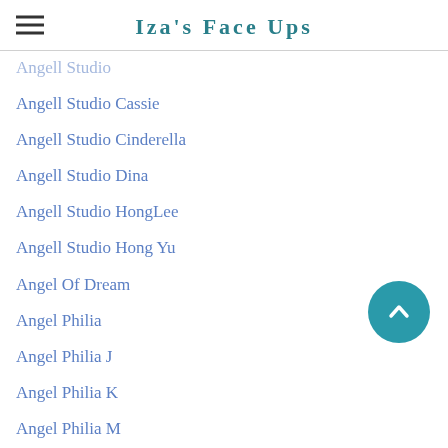Iza's Face Ups
Angell Studio
Angell Studio Cassie
Angell Studio Cinderella
Angell Studio Dina
Angell Studio HongLee
Angell Studio Hong Yu
Angel Of Dream
Angel Philia
Angel Philia J
Angel Philia K
Angel Philia M
Angel Philia Misa
Anhais Studio
Anhais Studio Jupiter
Anime Detour
Anime Faceup
Anthro
Aod